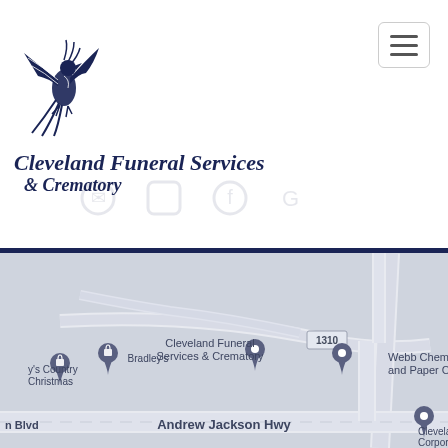[Figure (logo): Cleveland Funeral Services & Crematory logo with bird/phoenix illustration]
Cleveland Funeral Services & Crematory
[Figure (map): Google Maps screenshot showing Cleveland Funeral Services & Crematory location on Andrew Jackson Hwy near road 1310, with nearby landmarks: Bradley's, Webb Chemical and Paper Co. Inc, y's Country Christmas, and Cleveland Corpor. Road 74 and 1151 also visible.]